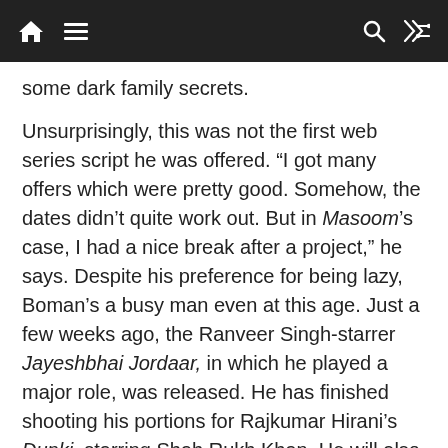Navigation bar with home, menu, search, and shuffle icons
some dark family secrets.
Unsurprisingly, this was not the first web series script he was offered. “I got many offers which were pretty good. Somehow, the dates didn’t quite work out. But in Masoom’s case, I had a nice break after a project,” he says. Despite his preference for being lazy, Boman’s a busy man even at this age. Just a few weeks ago, the Ranveer Singh-starrer Jayeshbhai Jordaar, in which he played a major role, was released. He has finished shooting his portions for Rajkumar Hirani’s Dunki, starring Shah Rukh Khan. He will also be seen in a Sooraj Barjatya film, Uunchai, alongside Amitabh Bachchan, Anupam Kher and Danny Denzongpa. He will also be seen in an Agatha Christie-like whodunnit murder mystery